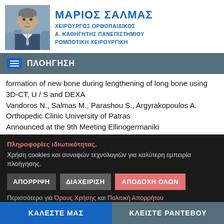[Figure (photo): Portrait photo of Marios Salmas, a middle-aged man in a suit, with a city landscape in the background]
ΜΑΡΙΟΣ ΣΑΛΜΑΣ
ΧΕΙΡΟΥΡΓΟΣ ΟΡΘΟΠΑΙΔΙΚΟΣ
Α. ΚΑΘΗΓΗΤΗΣ ΠΑΝΕΠΙΣΤΗΜΙΟΥ
ΡΟΜΠΟΤΙΚΗ ΧΕΙΡΟΥΡΓΙΚΗ
ΠΛΟΗΓΗΣΗ
formation of new bone during lengthening of long bone using 3D-CT, U / S and DEXA
Vandoros N., Salmas M., Parashou S., Argyrakopoulos A.
Orthopedic Clinic University of Patras
Announced at the 9th Meeting Ellinogermaniki
Πληροφορίες ιδιωτικότητας.
Χρήση cookies και συναφών τεχνολογιών για καλύτερη εμπειρία πλοήγησης.
ΑΠΟΡΡΙΨΗ   ΔΙΑΧΕΙΡΙΣΗ   ΑΠΟΔΟΧΗ ΟΛΩΝ
Περισσότερα για Όρους Χρήσης και Πολιτική Απορρήτου
accepted to be announced at the 5th Congress of the Greek
ΚΑΛΕΣΤΕ ΜΑΣ   ΚΛΕΙΣΤΕ ΡΑΝΤΕΒΟΥ